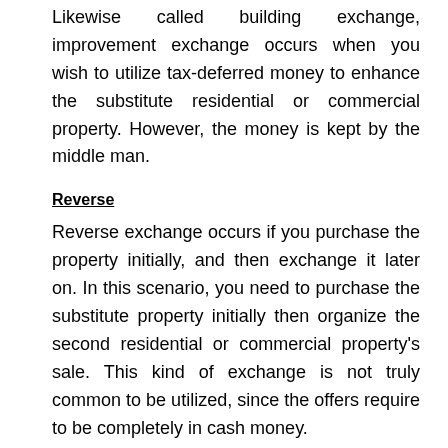Likewise called building exchange, improvement exchange occurs when you wish to utilize tax-deferred money to enhance the substitute residential or commercial property. However, the money is kept by the middle man.
Reverse
Reverse exchange occurs if you purchase the property initially, and then exchange it later on. In this scenario, you need to purchase the substitute property initially then organize the second residential or commercial property's sale. This kind of exchange is not truly common to be utilized, since the offers require to be completely in cash money.